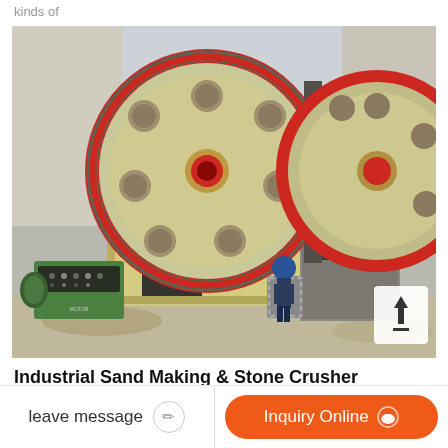kinds of
[Figure (photo): Industrial jaw crusher / stone crushing machine with two large yellow flywheels with red rims, green motor on left side, a worker standing behind the machine, and a hopper/box on the right side. Machine is sitting on a concrete floor.]
Industrial Sand Making & Stone Crusher
stone crusher machine company
leave message
Inquiry Online